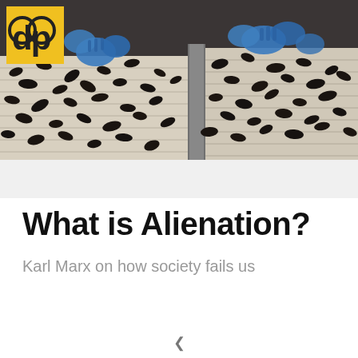[Figure (photo): Workers in blue gloves sorting dark mussels or shellfish on an industrial conveyor belt line. A yellow and black logo (dp) is visible in the top left corner of the image.]
What is Alienation?
Karl Marx on how society fails us